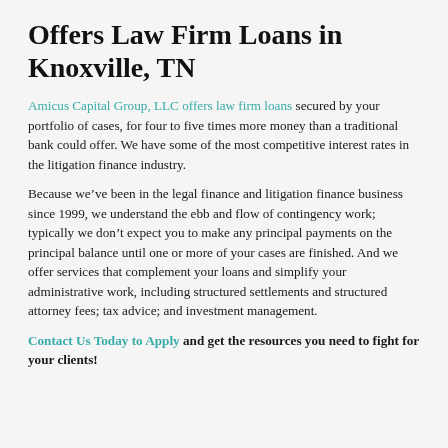Offers Law Firm Loans in Knoxville, TN
Amicus Capital Group, LLC offers law firm loans secured by your portfolio of cases, for four to five times more money than a traditional bank could offer. We have some of the most competitive interest rates in the litigation finance industry.
Because we’ve been in the legal finance and litigation finance business since 1999, we understand the ebb and flow of contingency work; typically we don’t expect you to make any principal payments on the principal balance until one or more of your cases are finished. And we offer services that complement your loans and simplify your administrative work, including structured settlements and structured attorney fees; tax advice; and investment management.
Contact Us Today to Apply and get the resources you need to fight for your clients!